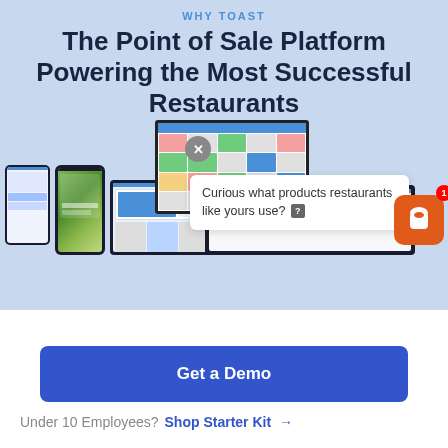WHY TOAST
The Point of Sale Platform Powering the Most Successful Restaurants
[Figure (screenshot): Product devices screenshot showing POS monitor, tablet, phones, and wide display with a popup bubble saying 'Curious what products restaurants like yours use?' and a Toast app icon with notification badge]
Get a Demo
Under 10 Employees? Shop Starter Kit →